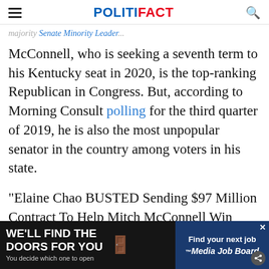POLITIFACT
majority Senate Minority Leader...
McConnell, who is seeking a seventh term to his Kentucky seat in 2020, is the top-ranking Republican in Congress. But, according to Morning Consult polling for the third quarter of 2019, he is also the most unpopular senator in the country among voters in his state.
"Elaine Chao BUSTED Sending $97 Million Contract To Help Mitch McConnell Win Reelection," says the headline, which als appea...